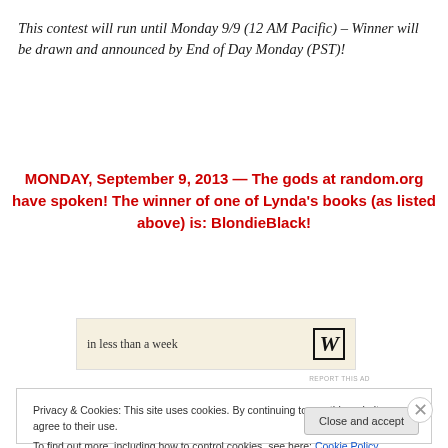This contest will run until Monday 9/9 (12 AM Pacific) – Winner will be drawn and announced by End of Day Monday (PST)!
MONDAY, September 9, 2013 — The gods at random.org have spoken! The winner of one of Lynda's books (as listed above) is: BlondieBlack!
[Figure (other): Advertisement banner with text 'in less than a week' and a W logo on beige background]
Privacy & Cookies: This site uses cookies. By continuing to use this website, you agree to their use.
To find out more, including how to control cookies, see here: Cookie Policy
Close and accept